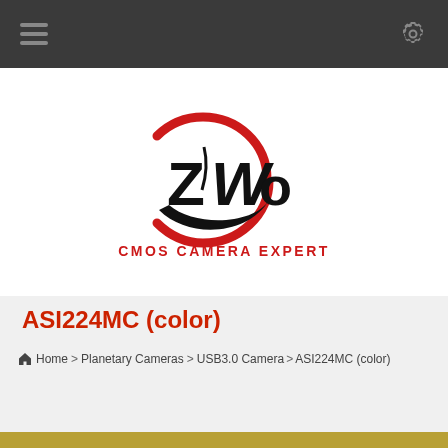Navigation bar with hamburger menu and settings gear icon
[Figure (logo): ZWO logo — stylized 'ZWO' text in black with a red circular arc swoosh around it, and tagline 'CMOS CAMERA EXPERT' in red below]
ASI224MC (color)
Home > Planetary Cameras > USB3.0 Camera > ASI224MC (color)